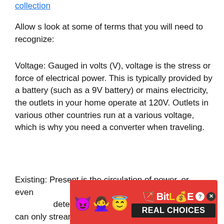collection
Allow s look at some of terms that you will need to recognize:
Voltage: Gauged in volts (V), voltage is the stress or force of electrical power. This is typically provided by a battery (such as a 9V battery) or mains electricity, the outlets in your home operate at 120V. Outlets in various other countries run at a various voltage, which is why you need a converter when traveling.
Existing: Present is the circulation of power, or even [ad overlay] ons. It is determined in Amperes (Amps), and also can only stream when a voltage supply is linked.
[Figure (other): BitLife Real Choices advertisement banner overlay with emoji icons (devil, woman with arms crossed, angel face), sperm emoji graphic, BitLife logo text, and REAL CHOICES tagline on dark background. Red background ad banner.]